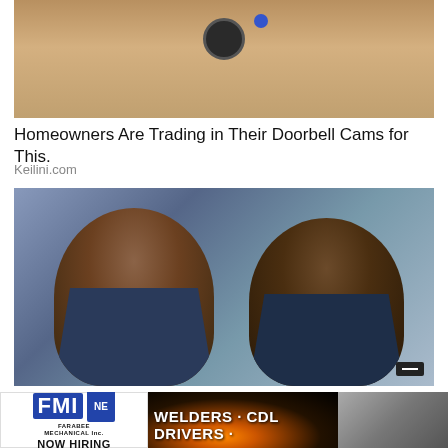[Figure (photo): Top portion of a doorbell camera mounted on a sandy/tan wall with a blue dot visible]
Homeowners Are Trading in Their Doorbell Cams for This.
Keilini.com
[Figure (photo): Two women in dark navy blue polo shirts smiling at the camera, standing in front of a white van outdoors]
[Figure (photo): FMI Farabee Mechanical Inc. logo with NOW HIRING text]
[Figure (photo): Dark background with welding sparks and text: WELDERS CDL DRIVERS]
[Figure (photo): Photo of large industrial trucks or machinery]